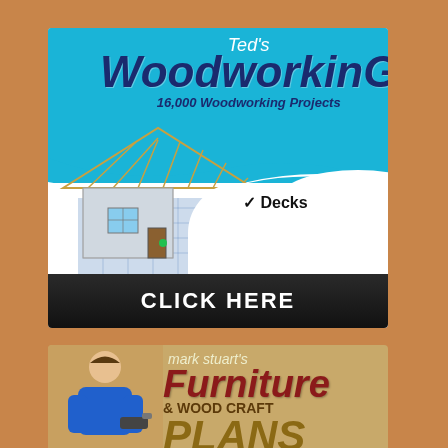[Figure (infographic): Ted's WoodworkinG advertisement banner. Blue background with large italic text 'Ted's WoodworkinG' and subtitle '16,000 Woodworking Projects'. Shows a 3D house frame model on blueprints. White panel with checkmark and 'Decks'. Black 'CLICK HERE' button at bottom.]
[Figure (infographic): Mark Stuart's Furniture & Wood Craft Plans advertisement banner. Brown/tan background with a man holding a drill. Cursive 'mark stuart's' text, large red/brown 'Furniture' text, '& WOOD CRAFT' text, and 'PLANS' in tan.]